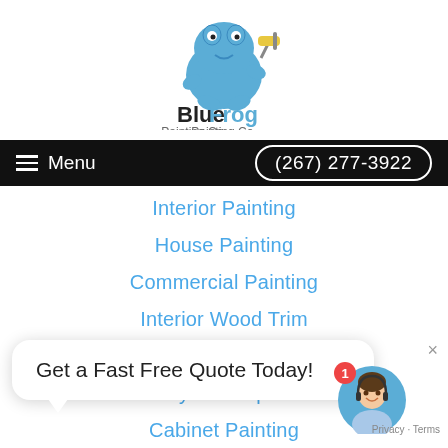[Figure (logo): Blue Frog Painting Co. logo with a blue cartoon frog holding a paint roller, text 'BlueFrog Painting Co.']
Menu  (267) 277-3922
Interior Painting
House Painting
Commercial Painting
Interior Wood Trim
Faux Finishes
Drywall Repair
Cabinet Painting
Get a Fast Free Quote Today!